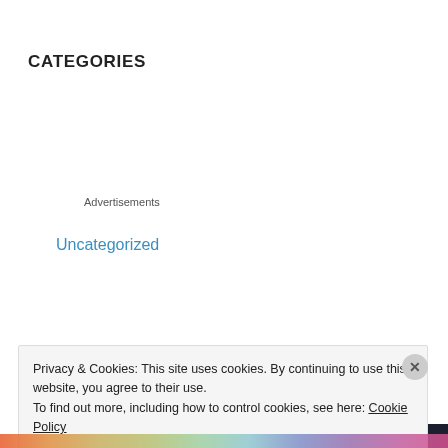CATEGORIES
Uncategorized
Advertisements
[Figure (screenshot): Sensei advertisement banner with dark background showing logo and text 'Launch your online course with WordPress' in teal color]
Privacy & Cookies: This site uses cookies. By continuing to use this website, you agree to their use.
To find out more, including how to control cookies, see here: Cookie Policy
Close and accept